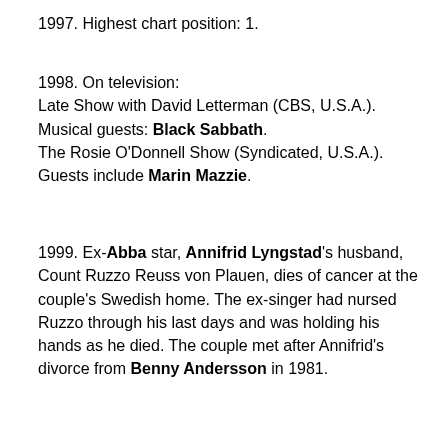1997. Highest chart position: 1.
1998. On television:
Late Show with David Letterman (CBS, U.S.A.). Musical guests: Black Sabbath.
The Rosie O'Donnell Show (Syndicated, U.S.A.). Guests include Marin Mazzie.
1999. Ex-Abba star, Annifrid Lyngstad's husband, Count Ruzzo Reuss von Plauen, dies of cancer at the couple's Swedish home. The ex-singer had nursed Ruzzo through his last days and was holding his hands as he died. The couple met after Annifrid's divorce from Benny Andersson in 1981.